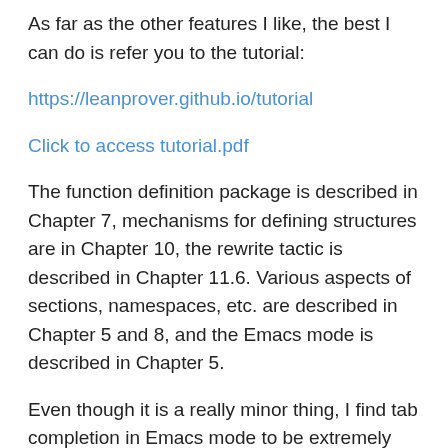As far as the other features I like, the best I can do is refer you to the tutorial:
https://leanprover.github.io/tutorial
Click to access tutorial.pdf
The function definition package is described in Chapter 7, mechanisms for defining structures are in Chapter 10, the rewrite tactic is described in Chapter 11.6. Various aspects of sections, namespaces, etc. are described in Chapter 5 and 8, and the Emacs mode is described in Chapter 5.
Even though it is a really minor thing, I find tab completion in Emacs mode to be extremely